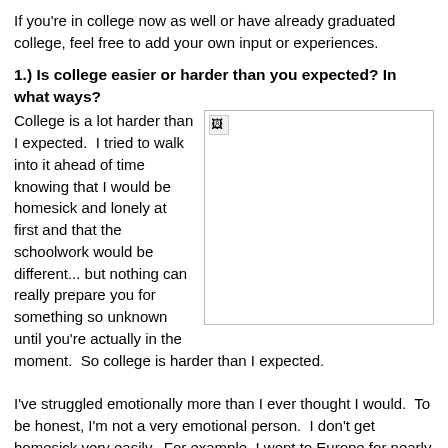If you're in college now as well or have already graduated college, feel free to add your own input or experiences.
1.) Is college easier or harder than you expected? In what ways?
College is a lot harder than I expected.  I tried to walk into it ahead of time knowing that I would be homesick and lonely at first and that the schoolwork would be different... but nothing can really prepare you for something so unknown until you're actually in the moment.  So college is harder than I expected.
[Figure (photo): A broken/missing image placeholder shown as a white box with a small broken image icon in the top-left corner, bordered by a thin gray border.]
I've struggled emotionally more than I ever thought I would.  To be honest, I'm not a very emotional person.  I don't get homesick very easily.  For example, I went to Europe for nearly a month when I was twelve and I never really got homesick while I